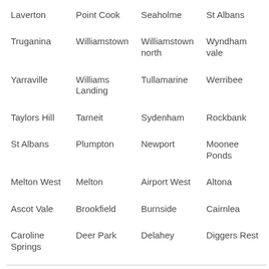Laverton
Point Cook
Seaholme
St Albans
Truganina
Williamstown
Williamstown north
Wyndham vale
Yarraville
Williams Landing
Tullamarine
Werribee
Taylors Hill
Tarneit
Sydenham
Rockbank
St Albans
Plumpton
Newport
Moonee Ponds
Melton West
Melton
Airport West
Altona
Ascot Vale
Brookfield
Burnside
Cairnlea
Caroline Springs
Deer Park
Delahey
Diggers Rest